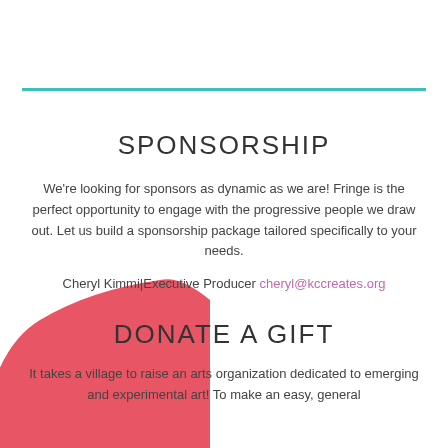SPONSORSHIP
We're looking for sponsors as dynamic as we are! Fringe is the perfect opportunity to engage with the progressive people we draw out. Let us build a sponsorship package tailored specifically to your needs.
Cheryl Kimmi|Executive Producer cheryl@kccreates.org
DONATE A GIFT
It takes a village to raise an arts organization dedicated to emerging and experimental art! To make an easy, general